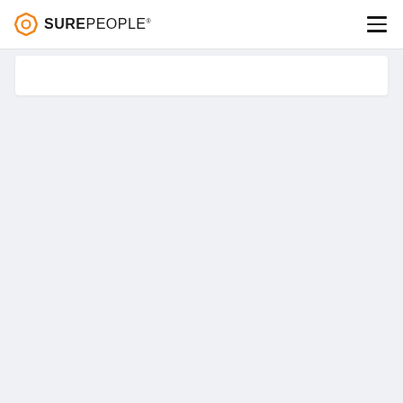[Figure (logo): SurePeople logo with orange hexagon/gear icon on the left and bold uppercase text SUREPEOPLE to the right]
[Figure (other): Hamburger menu icon (three horizontal lines) in the top right corner of the navigation header]